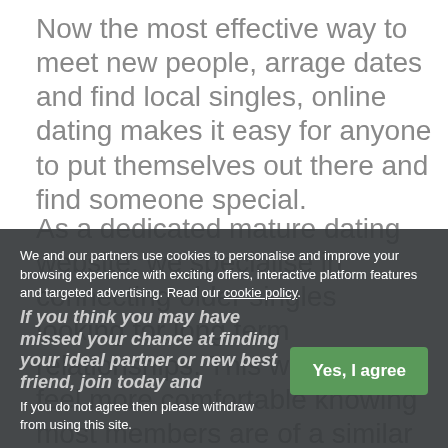Now the most effective way to meet new people, arrage dates and find local singles, online dating makes it easy for anyone to put themselves out there and find someone special.
As a dedicated mature dating website, we specialise in connecting older singles looking for long term relationships. This way you will feel more comfortable knowing most members are of a similar age to you and probably looking to the
If you think you may have missed your chance at finding your ideal partner or new best friend, join today and
We and our partners use cookies to personalise and improve your browsing experience with exciting offers, interactive platform features and targeted advertising. Read our cookie policy.
If you do not agree then please withdraw from using this site.